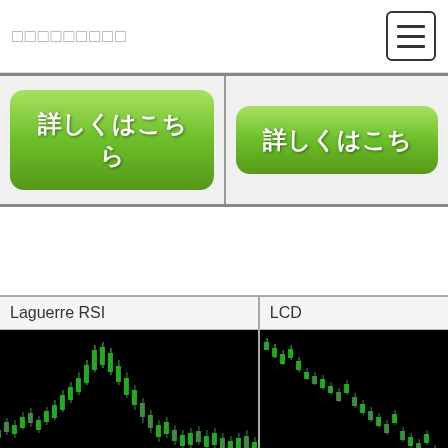□□□□□□□□□
[Figure (screenshot): Green button row with Japanese text 詳しくはこちら (two buttons side by side, second partially cut off)]
Laguerre RSI
LCD
[Figure (screenshot): Laguerre RSI trading chart - candlestick chart on black background with green candles showing price action and oscillator below]
[Figure (screenshot): LCD trading chart - candlestick chart on black background with green candles showing downward price trend]